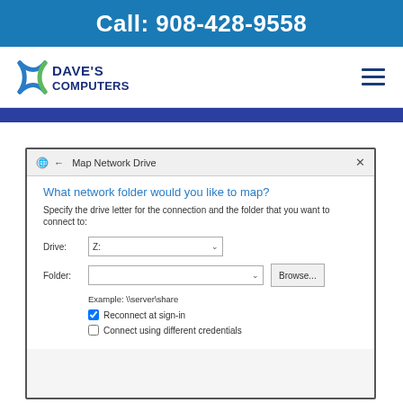Call: 908-428-9558
[Figure (logo): Dave's Computers logo with stylized X icon in blue and green]
[Figure (screenshot): Windows Map Network Drive dialog showing drive letter Z: dropdown, folder input with Browse button, example \\server\share text, Reconnect at sign-in checked checkbox, Connect using different credentials unchecked checkbox]